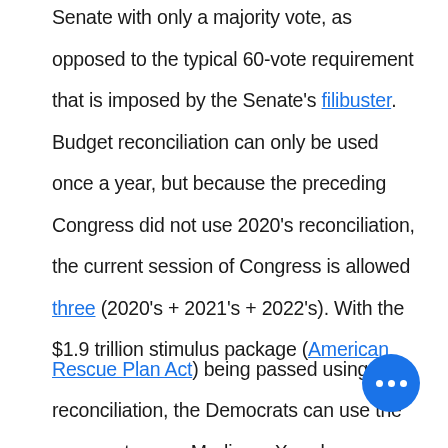Senate with only a majority vote, as opposed to the typical 60-vote requirement that is imposed by the Senate's filibuster. Budget reconciliation can only be used once a year, but because the preceding Congress did not use 2020's reconciliation, the current session of Congress is allowed three (2020's + 2021's + 2022's). With the $1.9 trillion stimulus package (American Rescue Plan Act) being passed using reconciliation, the Democrats can use the process to pass Medicare X and wo... have one use of reconciliation left to use for